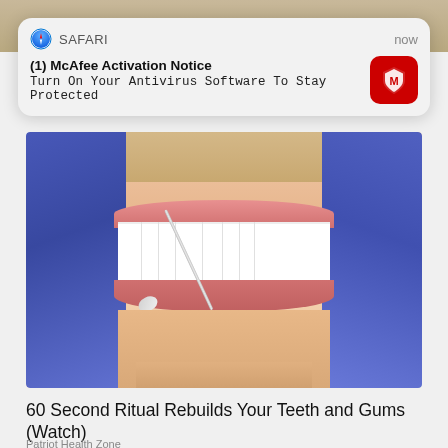[Figure (screenshot): Safari browser push notification overlay: '(1) McAfee Activation Notice — Turn On Your Antivirus Software To Stay Protected' with McAfee red logo icon, timestamped 'now']
[Figure (photo): Close-up photo of a smiling woman at the dentist, wearing blue gloves and holding a dental tool near white teeth]
60 Second Ritual Rebuilds Your Teeth and Gums (Watch)
Patriot Health Zone
[Figure (photo): Partial view of an anatomical illustration showing ear or jaw cross-section with red, yellow, and brown tissue layers]